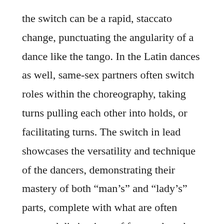the switch can be a rapid, staccato change, punctuating the angularity of a dance like the tango. In the Latin dances as well, same-sex partners often switch roles within the choreography, taking turns pulling each other into holds, or facilitating turns. The switch in lead showcases the versatility and technique of the dancers, demonstrating their mastery of both “man’s” and “lady’s” parts, complete with what are often nuanced distinctions of footwork and body posture. But perhaps more importantly, the switching subtly establishes a form of resistance to those cultural codes that inform an understanding of ballroom as a signifier of both prototypical, heterosexual desire or romance and stereotypical gender roles. The changing of lead